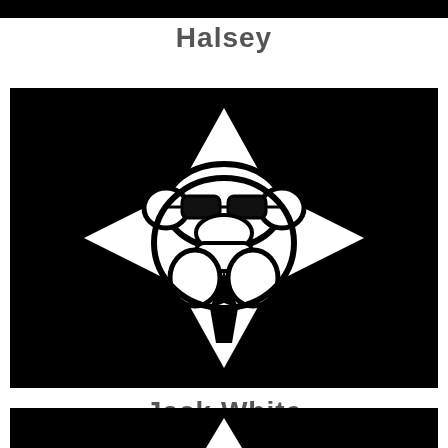[Figure (logo): Black horizontal bar at top of page]
Halsey
[Figure (logo): Black square background with a white diamond/gorilla geometric logo in white, consisting of a diamond shape with a stylized gorilla face wearing sunglasses]
Jack White
[Figure (logo): Partial black square with white diamond/triangle shape visible at bottom of page, cut off]